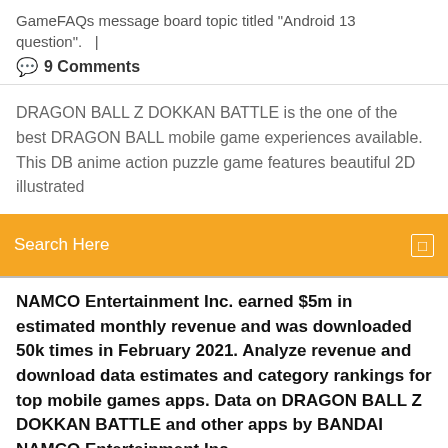GameFAQs message board topic titled "Android 13 question".   |
💬  9 Comments
DRAGON BALL Z DOKKAN BATTLE is the one of the best DRAGON BALL mobile game experiences available. This DB anime action puzzle game features beautiful 2D illustrated
Search Here
NAMCO Entertainment Inc. earned $5m in estimated monthly revenue and was downloaded 50k times in February 2021. Analyze revenue and download data estimates and category rankings for top mobile games apps. Data on DRAGON BALL Z DOKKAN BATTLE and other apps by BANDAI NAMCO Entertainment Inc.
10/09/2018 In order to play Dragon Ball Z Dokkan Battle, you will need a device with iOS, MAC, Android or Windows OS. How to Download and Play Dragon Ball Z Dokkan Battle on PC: Download & Install Bluestacks. Alternatively you can use